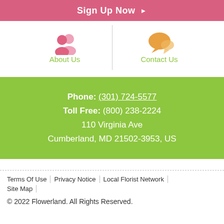Sign Up Now
[Figure (illustration): Pink silhouette icon of two people (About Us) and an orange speech bubble chat icon (Contact Us), arranged side by side with a vertical divider. Below each icon is a green label: 'About Us' and 'Contact Us'.]
Phone: (301) 724-5577
Toll Free: (800) 238-2224
110 Virginia Ave
Cumberland, MD 21502-3953, US
Terms Of Use | Privacy Notice | Local Florist Network | Site Map
© 2022 Flowerland. All Rights Reserved.